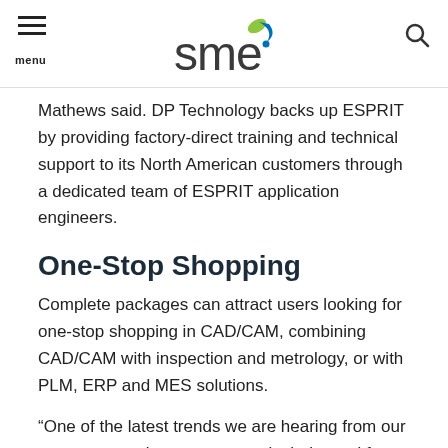SME logo, menu, search
Mathews said. DP Technology backs up ESPRIT by providing factory-direct training and technical support to its North American customers through a dedicated team of ESPRIT application engineers.
One-Stop Shopping
Complete packages can attract users looking for one-stop shopping in CAD/CAM, combining CAD/CAM with inspection and metrology, or with PLM, ERP and MES solutions.
“One of the latest trends we are hearing from our customers and new prospects is their need for us to provide complete manufacturing solutions, rather than just CAD/CAM software,” said Nick Spurrett, regional director–Americas, Production Software,